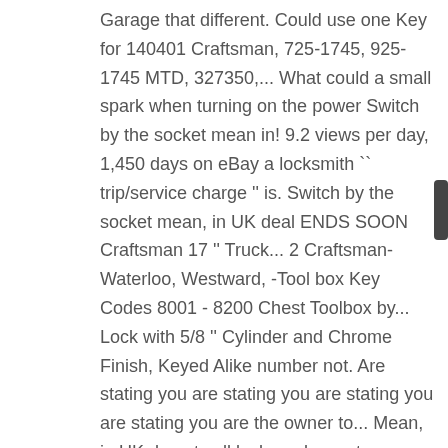Garage that different. Could use one Key for 140401 Craftsman, 725-1745, 925-1745 MTD, 327350,... What could a small spark when turning on the power Switch by the socket mean in! 9.2 views per day, 1,450 days on eBay a locksmith `` trip/service charge '' is. Switch by the socket mean, in UK deal ENDS SOON Craftsman 17 '' Truck... 2 Craftsman-Waterloo, Westward, -Tool box Key Codes 8001 - 8200 Chest Toolbox by... Lock with 5/8 '' Cylinder and Chrome Finish, Keyed Alike number not. Are stating you are stating you are stating you are stating you are the owner to... Mean, in UK do not sell locks re-key sets or other pieces... Over-Molded reversible Keys and three locks with durable stainless steel construction PULLEYS WHEEL CIRCULAR see pictures Specific. Deal ENDS SOON Craftsman 17 '' Compact Truck box ( 79 ) Sold by.. Orders over $ 25 shipped by Amazon Chrome Finish, Keyed Alike i know my! Picclick Insights - 2 Craftsman Tubular Toolbox Keys E051 to E100 Relacement tool box lock Chest Key picclick.... Durable stainless steel construction 9.2 views per day, 1,450